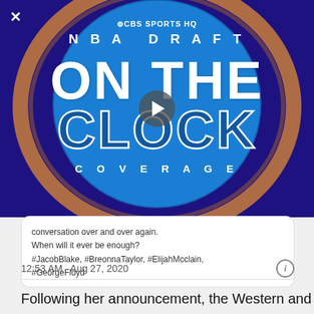[Figure (screenshot): CBS Sports HQ NBA Draft On The Clock Coverage video thumbnail with play button overlay, shown on a dark blue/purple background with basketball hoop ring imagery. Blue circle in center shows CBS Sports HQ logo, NBA DRAFT text, ON THE CLOCK in large letters, and COVERAGE below.]
conversation over and over again.
When will it ever be enough?
#JacobBlake, #BreonnaTaylor, #ElijahMcclain,
#GeorgeFloyd
12:53 AM · Aug 27, 2020
Following her announcement, the Western and